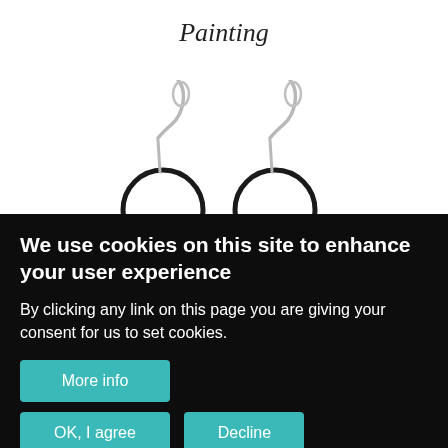Painting
[Figure (photo): Two silver hoop earrings with circular pendant rings, photographed against a white background. Only the upper portion of the earrings is visible, showing the hook and ring elements.]
We use cookies on this site to enhance your user experience
By clicking any link on this page you are giving your consent for us to set cookies.
More info
OK, I agree
Decline